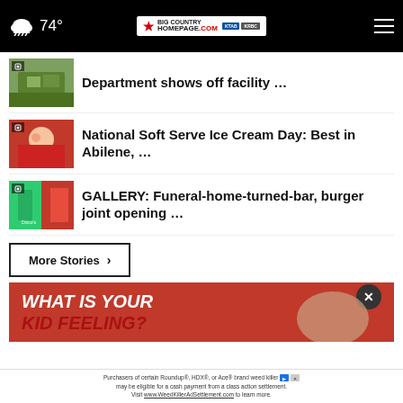74° Big Country Homepage - KTAB CBS KRBC NBC
Department shows off facility …
National Soft Serve Ice Cream Day: Best in Abilene, …
GALLERY: Funeral-home-turned-bar, burger joint opening …
More Stories ›
[Figure (screenshot): Advertisement banner - red background with 'WHAT IS YOUR KID FEELING?' text and a child's face, plus a class action settlement notice for Roundup/HDX/Ace weed killer brands]